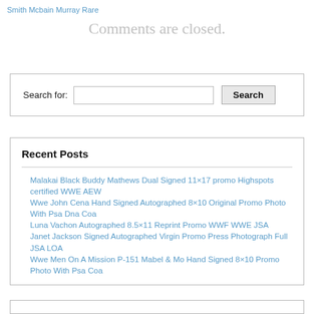Smith Mcbain Murray Rare
Comments are closed.
Search for:
Recent Posts
Malakai Black Buddy Mathews Dual Signed 11×17 promo Highspots certified WWE AEW
Wwe John Cena Hand Signed Autographed 8×10 Original Promo Photo With Psa Dna Coa
Luna Vachon Autographed 8.5×11 Reprint Promo WWF WWE JSA
Janet Jackson Signed Autographed Virgin Promo Press Photograph Full JSA LOA
Wwe Men On A Mission P-151 Mabel & Mo Hand Signed 8×10 Promo Photo With Psa Coa